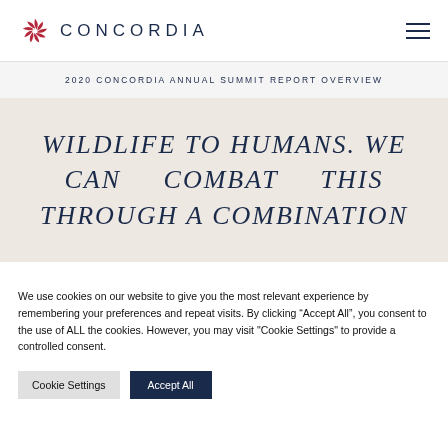CONCORDIA (logo/header bar)
2020 CONCORDIA ANNUAL SUMMIT REPORT OVERVIEW
WILDLIFE TO HUMANS. WE CAN COMBAT THIS THROUGH A COMBINATION
We use cookies on our website to give you the most relevant experience by remembering your preferences and repeat visits. By clicking “Accept All”, you consent to the use of ALL the cookies. However, you may visit "Cookie Settings" to provide a controlled consent.